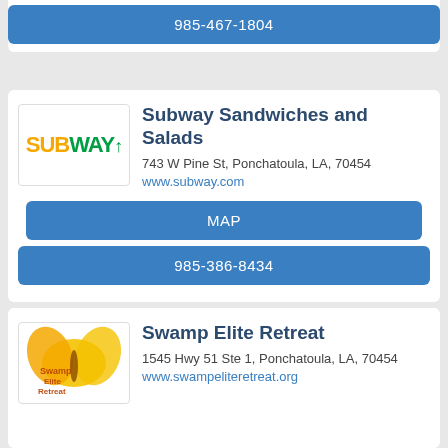985-467-1804
[Figure (logo): Subway logo with yellow SUB and green WAY text]
Subway Sandwiches and Salads
743 W Pine St, Ponchatoula, LA, 70454
www.subway.com
MAP
985-386-8434
[Figure (logo): Swamp Elite Retreat logo with butterfly/yellow wings graphic]
Swamp Elite Retreat
1545 Hwy 51 Ste 1, Ponchatoula, LA, 70454
www.swampeliteretreat.org